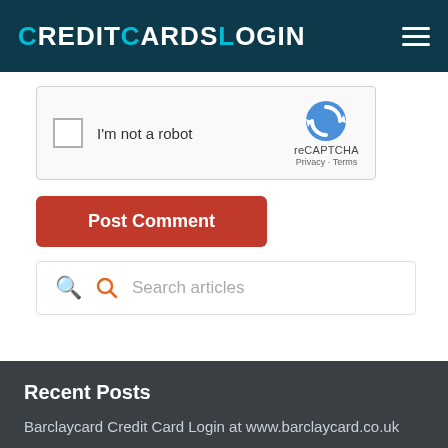CreditCardsLogin
[Figure (screenshot): reCAPTCHA widget with checkbox labeled I'm not a robot and reCAPTCHA logo with Privacy and Terms links]
Post Comment
Search articles
Recent Posts
Barclaycard Credit Card Login at www.barclaycard.co.uk
Pennymac Login at mypennymac.pennymacusa.com
Amex Credit Card Login at...